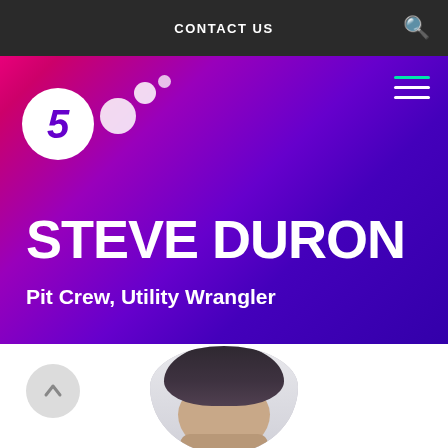CONTACT US
[Figure (logo): Channel 5 logo with white circle containing number 5 and decorative bubbles on gradient purple-pink background]
STEVE DURON
Pit Crew, Utility Wrangler
[Figure (photo): Circular cropped profile photo of Steve Duron showing face and dark hair on white background]